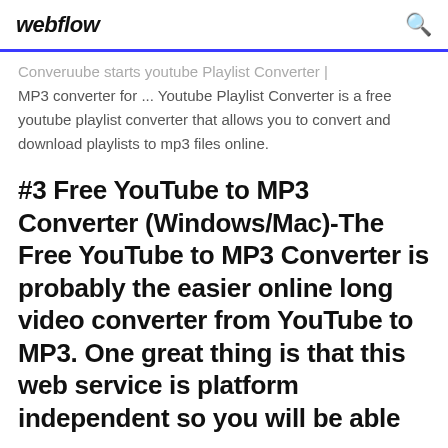webflow
Converuube starts youtube Playlist Converter | MP3 converter for ... Youtube Playlist Converter is a free youtube playlist converter that allows you to convert and download playlists to mp3 files online.
#3 Free YouTube to MP3 Converter (Windows/Mac)-The Free YouTube to MP3 Converter is probably the easier online long video converter from YouTube to MP3. One great thing is that this web service is platform independent so you will be able